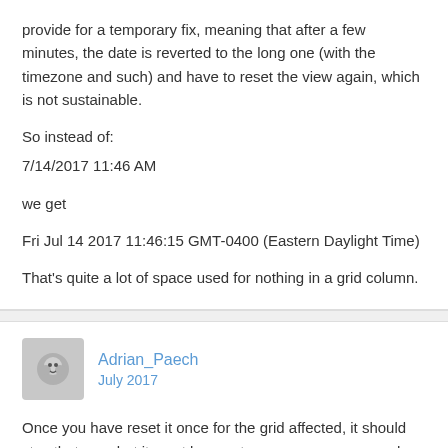provide for a temporary fix, meaning that after a few minutes, the date is reverted to the long one (with the timezone and such) and have to reset the view again, which is not sustainable.

So instead of:
7/14/2017 11:46 AM

we get

Fri Jul 14 2017 11:46:15 GMT-0400 (Eastern Daylight Time)

That's quite a lot of space used for nothing in a grid column.
Adrian_Paech
July 2017
Once you have reset it once for the grid affected, it should stay that way, but it must be reset once, per user, on each seperate